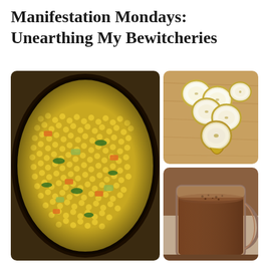Manifestation Mondays: Unearthing My Bewitcheries
[Figure (photo): A pan filled with cooked corn kernels mixed with chopped vegetables including carrots, zucchini, and leafy greens]
[Figure (photo): Sliced banana rounds arranged on a wooden cutting board]
[Figure (photo): A glass mug filled with a chocolate brown smoothie or shake]